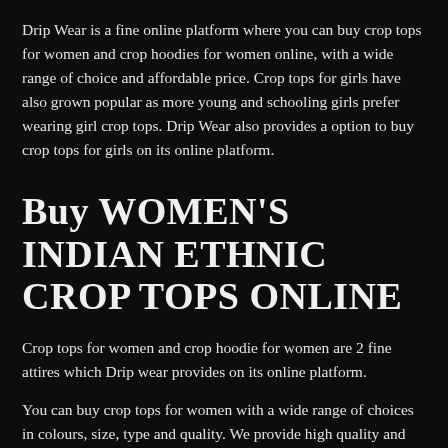Drip Wear is a fine online platform where you can buy crop tops for women and crop hoodies for women online, with a wide range of choice and affordable price. Crop tops for girls have also grown popular as more young and schooling girls prefer wearing girl crop tops. Drip Wear also provides a option to buy crop tops for girls on its online platform.
Buy WOMEN'S INDIAN ETHNIC CROP TOPS ONLINE
Crop tops for women and crop hoodie for women are 2 fine attires which Drip wear provides on its online platform.
You can buy crop tops for women with a wide range of choices in colours, size, type and quality. We provide high quality and